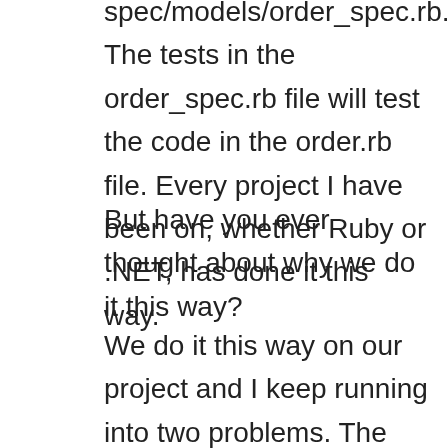spec/models/order_spec.rb. The tests in the order_spec.rb file will test the code in the order.rb file. Every project I have been on, whether Ruby or .NET, has done it this way.
But have you ever thought about why we do it this way?
We do it this way on our project and I keep running into two problems. The first problem is when I am about to modify some existing code and I want to know what tests will test that portion of the code. The first place I look is the corresponding test file (based on the